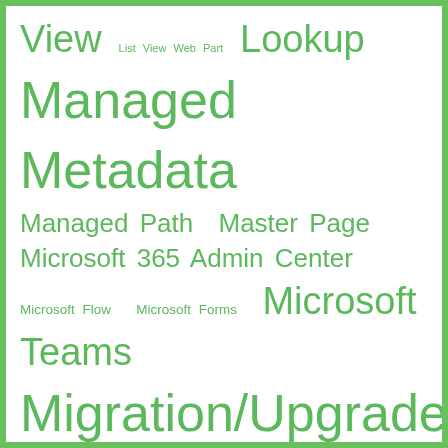[Figure (infographic): Tag cloud of SharePoint/Microsoft 365 topics in varying green font sizes. Terms include: View, List View Web Part, Lookup, Managed Metadata, Managed Path, Master Page, Microsoft 365 Admin Center, Microsoft Flow, Microsoft Forms, Microsoft Teams, Migration/Upgrade, Modern Site, Monitoring, My Site, Navigation, Nintex, Nintex Workflow, Object Model, Office 365, Office 365 Group, Office Web Apps, OneDrive for Business, Page, Page Layouts, Patching, PDF, People Picker, Performance Optimization, Permission, Permission Report, PnP, PowerShell, PnP Provisioning, PowerShell, Presentations, Product Review, Quick Launch, Quotas and Locks, Recycle Bin, Reference, Search Security]